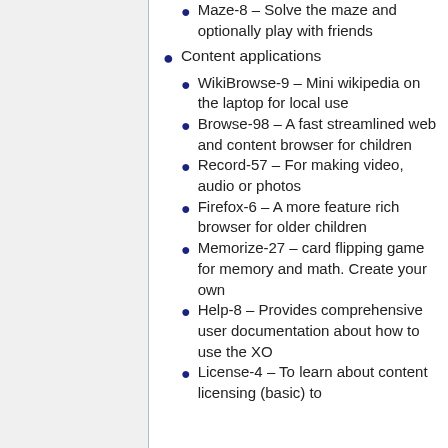Maze-8 – Solve the maze and optionally play with friends
Content applications
WikiBrowse-9 – Mini wikipedia on the laptop for local use
Browse-98 – A fast streamlined web and content browser for children
Record-57 – For making video, audio or photos
Firefox-6 – A more feature rich browser for older children
Memorize-27 – card flipping game for memory and math. Create your own
Help-8 – Provides comprehensive user documentation about how to use the XO
License-4 – To learn about content licensing (basic) to